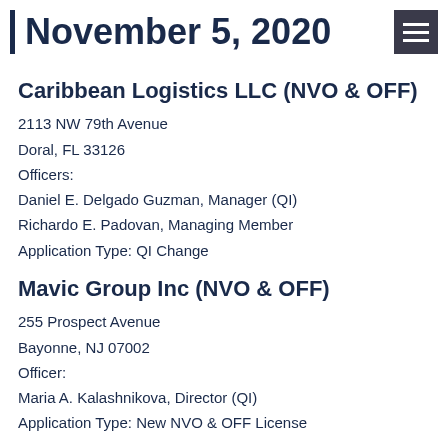November 5, 2020
Caribbean Logistics LLC (NVO & OFF)
2113 NW 79th Avenue
Doral, FL 33126
Officers:
Daniel E. Delgado Guzman, Manager (QI)
Richardo E. Padovan, Managing Member
Application Type: QI Change
Mavic Group Inc (NVO & OFF)
255 Prospect Avenue
Bayonne, NJ 07002
Officer:
Maria A. Kalashnikova, Director (QI)
Application Type: New NVO & OFF License